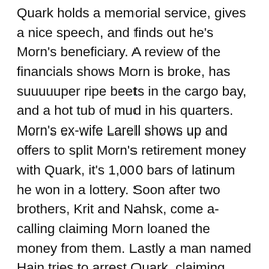Quark holds a memorial service, gives a nice speech, and finds out he's Morn's beneficiary. A review of the financials shows Morn is broke, has suuuuuper ripe beets in the cargo bay, and a hot tub of mud in his quarters. Morn's ex-wife Larell shows up and offers to split Morn's retirement money with Quark, it's 1,000 bars of latinum he won in a lottery. Soon after two brothers, Krit and Nahsk, come a-calling claiming Morn loaned the money from them. Lastly a man named Hain tries to arrest Quark, claiming Morn was a prince and the money is his inheritance. All three parties break into Quark's room and it's a reunion of The Italian Job because the four of them and Morn stole the latinum years ago but the statute of limitations on prosecution just ran out and they're all trying to get it from him. Quark opens a storage locker and finds where the latinum is and they all agree to split it five ways, but fighting breaks out and everyone gets arrested